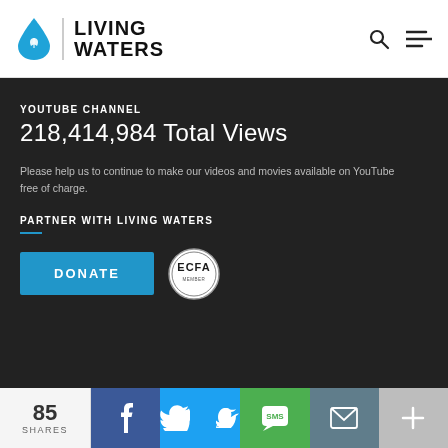[Figure (logo): Living Waters logo with blue water drop and text LIVING WATERS]
YOUTUBE CHANNEL
218,414,984 Total Views
Please help us to continue to make our videos and movies available on YouTube free of charge.
PARTNER WITH LIVING WATERS
[Figure (other): DONATE button (blue) and ECFA badge]
85 SHARES
[Figure (infographic): Social share bar with Facebook, Twitter, SMS, Email, and More buttons]